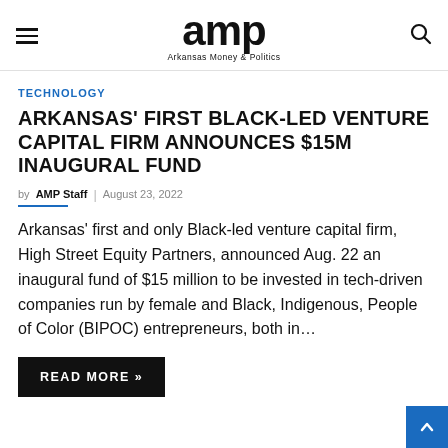amp Arkansas Money & Politics
TECHNOLOGY
ARKANSAS' FIRST BLACK-LED VENTURE CAPITAL FIRM ANNOUNCES $15M INAUGURAL FUND
by AMP Staff | August 23, 2022
Arkansas' first and only Black-led venture capital firm, High Street Equity Partners, announced Aug. 22 an inaugural fund of $15 million to be invested in tech-driven companies run by female and Black, Indigenous, People of Color (BIPOC) entrepreneurs, both in...
READ MORE »